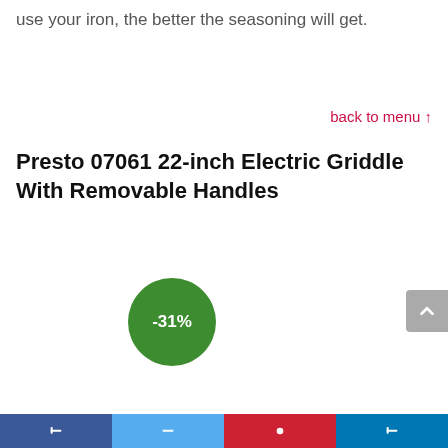use your iron, the better the seasoning will get.
back to menu ↑
Presto 07061 22-inch Electric Griddle With Removable Handles
[Figure (infographic): Green circular badge showing -31% discount]
Social sharing bar with Facebook, Twitter, Pinterest, LinkedIn buttons